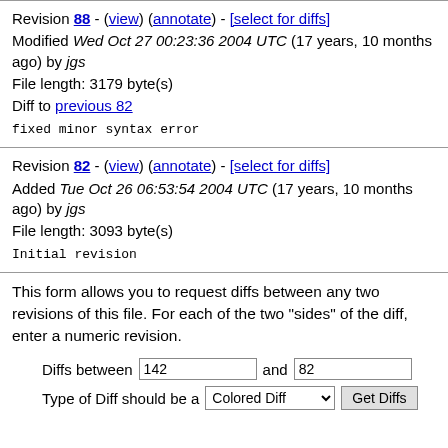Revision 88 - (view) (annotate) - [select for diffs]
Modified Wed Oct 27 00:23:36 2004 UTC (17 years, 10 months ago) by jgs
File length: 3179 byte(s)
Diff to previous 82
fixed minor syntax error
Revision 82 - (view) (annotate) - [select for diffs]
Added Tue Oct 26 06:53:54 2004 UTC (17 years, 10 months ago) by jgs
File length: 3093 byte(s)
Initial revision
This form allows you to request diffs between any two revisions of this file. For each of the two "sides" of the diff, enter a numeric revision.
Diffs between 142 and 82  Type of Diff should be a Colored Diff  Get Diffs